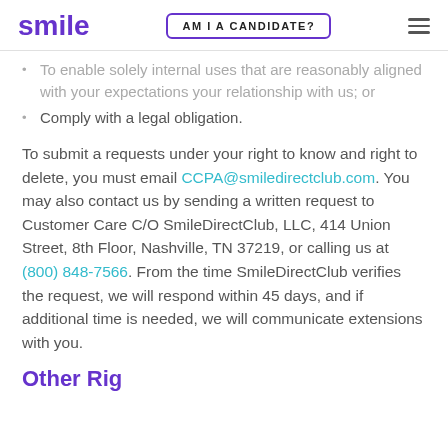smile | AM I A CANDIDATE? | menu
To enable solely internal uses that are reasonably aligned with your expectations your relationship with us; or
Comply with a legal obligation.
To submit a requests under your right to know and right to delete, you must email CCPA@smiledirectclub.com. You may also contact us by sending a written request to Customer Care C/O SmileDirectClub, LLC, 414 Union Street, 8th Floor, Nashville, TN 37219, or calling us at (800) 848-7566. From the time SmileDirectClub verifies the request, we will respond within 45 days, and if additional time is needed, we will communicate extensions with you.
Other Rights